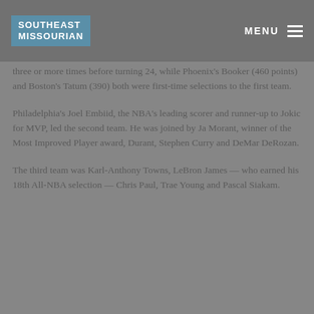SOUTHEAST MISSOURIAN | MENU
three or more times before turning 24, while Phoenix's Booker (460 points) and Boston's Tatum (390) both were first-time selections to the first team.
Philadelphia's Joel Embiid, the NBA's leading scorer and runner-up to Jokic for MVP, led the second team. He was joined by Ja Morant, winner of the Most Improved Player award, Durant, Stephen Curry and DeMar DeRozan.
The third team was Karl-Anthony Towns, LeBron James — who earned his 18th All-NBA selection — Chris Paul, Trae Young and Pascal Siakam.